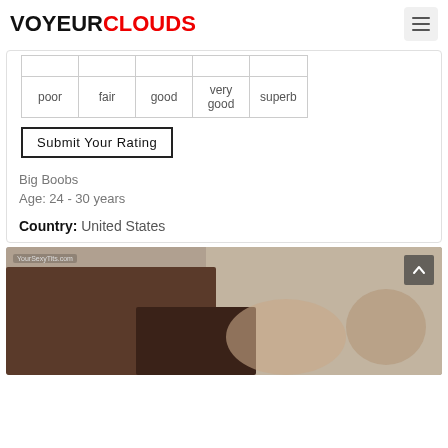VOYEURCLOUDS
| poor | fair | good | very good | superb |
| --- | --- | --- | --- | --- |
Submit Your Rating
Big Boobs
Age: 24 - 30 years
Country: United States
[Figure (photo): Photo thumbnail with YourSexyTits.com watermark and scroll-to-top button]